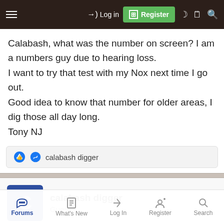Log in | Register
Calabash, what was the number on screen? I am a numbers guy due to hearing loss.
I want to try that test with my Nox next time I go out.
Good idea to know that number for older areas, I dig those all day long.
Tony NJ
calabash digger
calabash digger
Guest
Dec 17, 2021  #3
Forums  What's New  Log In  Register  Search